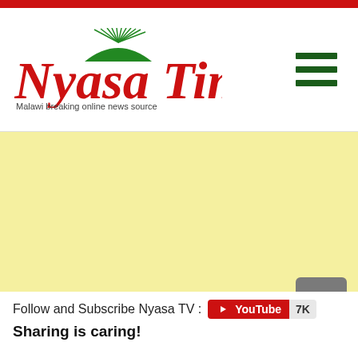Nyasa Times - Malawi breaking online news source
[Figure (other): Yellow advertisement placeholder area]
Follow and Subscribe Nyasa TV :
Sharing is caring!